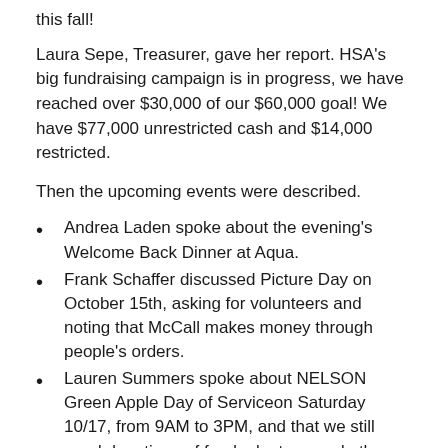this fall!
Laura Sepe, Treasurer, gave her report. HSA's big fundraising campaign is in progress, we have reached over $30,000 of our $60,000 goal! We have $77,000 unrestricted cash and $14,000 restricted.
Then the upcoming events were described.
Andrea Laden spoke about the evening's Welcome Back Dinner at Aqua.
Frank Schaffer discussed Picture Day on October 15th, asking for volunteers and noting that McCall makes money through people's orders.
Lauren Summers spoke about NELSON Green Apple Day of Serviceon Saturday 10/17, from 9AM to 3PM, and that we still need donations of food, planters, and other supplies.
Merle Becker spoke about the Jewelry Party on 10/22.